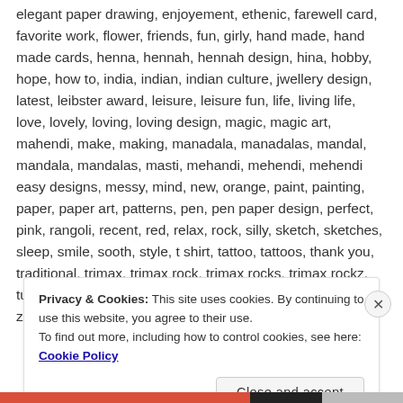elegant paper drawing, enjoyement, ethenic, farewell card, favorite work, flower, friends, fun, girly, hand made, hand made cards, henna, hennah, hennah design, hina, hobby, hope, how to, india, indian, indian culture, jwellery design, latest, leibster award, leisure, leisure fun, life, living life, love, lovely, loving, loving design, magic, magic art, mahendi, make, making, manadala, manadalas, mandal, mandala, mandalas, masti, mehandi, mehendi, mehendi easy designs, messy, mind, new, orange, paint, painting, paper, paper art, patterns, pen, pen paper design, perfect, pink, rangoli, recent, red, relax, rock, silly, sketch, sketches, sleep, smile, sooth, style, t shirt, tattoo, tattoos, thank you, traditional, trimax, trimax rock, trimax rocks, trimax rockz, tutorial, us, vector, video, vlog, weird, work, yo, yoo, zenart, zendoodle, zentangle     5 comments
Privacy & Cookies: This site uses cookies. By continuing to use this website, you agree to their use. To find out more, including how to control cookies, see here: Cookie Policy
Close and accept